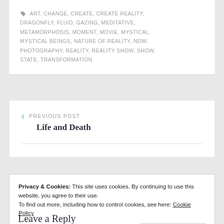ART, CHANGE, CREATE, CREATE REALITY, DRAGONFLY, FLUID, GAZING, MEDITATIVE, METAMORPHOSIS, MOMENT, MOVIE, MYSTICAL, MYSTICAL BEINGS, NATURE OF REALITY, NOW, PHOTOGRAPHY, REALITY, REALITY SHOW, SHOW, STATE, TRANSFORMATION
< PREVIOUS POST
Life and Death
Privacy & Cookies: This site uses cookies. By continuing to use this website, you agree to their use.
To find out more, including how to control cookies, see here: Cookie Policy
Close and accept
Leave a Reply